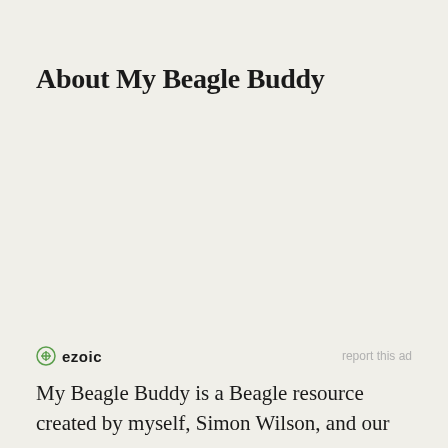About My Beagle Buddy
ezoic   report this ad
My Beagle Buddy is a Beagle resource created by myself, Simon Wilson, and our two